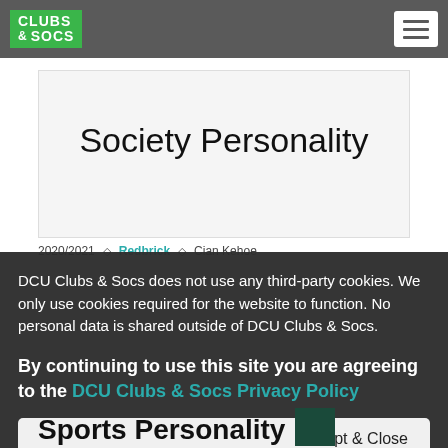CLUBS & SOCS
Society Personality
2020/2021 · Redbrick · Cian Kehoe
DCU Clubs & Socs does not use any third-party cookies. We only use cookies required for the website to function. No personal data is shared outside of DCU Clubs & Socs.
By continuing to use this site you are agreeing to the DCU Clubs & Socs Privacy Policy
Accept & Close
Sports Personality